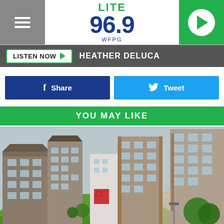LITE 96.9 WFPG
LISTEN NOW  HEATHER DELUCA
Share  Tweet
YOU MAY LIKE
[Figure (photo): Exterior photo of modern apartment complex with green lawn, walking path, and multiple residential buildings with balconies]